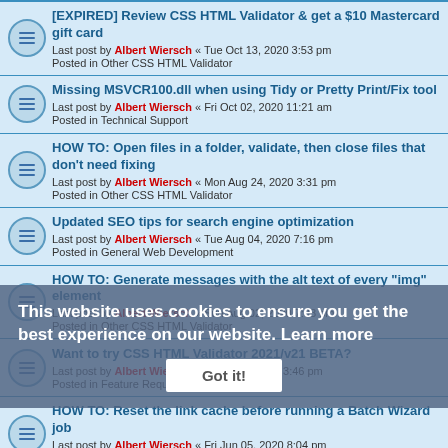[EXPIRED] Review CSS HTML Validator & get a $10 Mastercard gift card — Last post by Albert Wiersch « Tue Oct 13, 2020 3:53 pm — Posted in Other CSS HTML Validator
Missing MSVCR100.dll when using Tidy or Pretty Print/Fix tool — Last post by Albert Wiersch « Fri Oct 02, 2020 11:21 am — Posted in Technical Support
HOW TO: Open files in a folder, validate, then close files that don't need fixing — Last post by Albert Wiersch « Mon Aug 24, 2020 3:31 pm — Posted in Other CSS HTML Validator
Updated SEO tips for search engine optimization — Last post by Albert Wiersch « Tue Aug 04, 2020 7:16 pm — Posted in General Web Development
HOW TO: Generate messages with the alt text of every "img" element — Last post by Albert Wiersch « Sun Aug 02, 2020 7:08 pm — Posted in Other CSS HTML Validator
Want to try CSS HTML Validator 2021/v21 BETA? — Last post by Albert Wiersch « Fri Jul 31, 2020 3:46 pm — Posted in Feature Requests and BETA Talk
HOW TO: Reset the link cache before running a Batch Wizard job — Last post by Albert Wiersch « Fri Jun 05, 2020 8:04 pm — Posted in Other CSS HTML Validator
This website uses cookies to ensure you get the best experience on our website. Learn more
Got it!